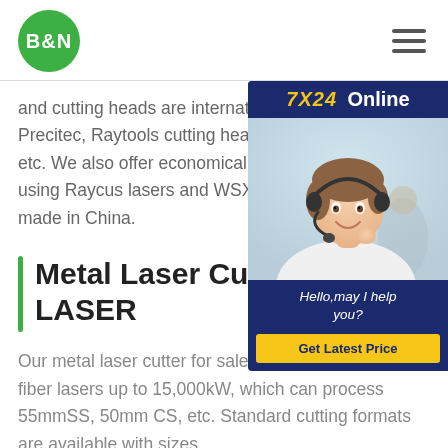B&N
and cutting heads are international bra Precitec, Raytools cutting heads, IPG l etc. We also offer economical solutions using Raycus lasers and WSX laser cu made in China.
[Figure (photo): 7X24 Online chat widget with a customer service representative wearing a headset, smiling. Dark blue background with 'Hello, may I help you?' text and a 'Get Latest Price' yellow button.]
Metal Laser Cutting Machi LASER
Our metal laser cutter for sale contains high power fiber lasers up to 15,000kW, which can process 55mmSS, 50mm CS, etc. Standard cutting formats are available with sizes